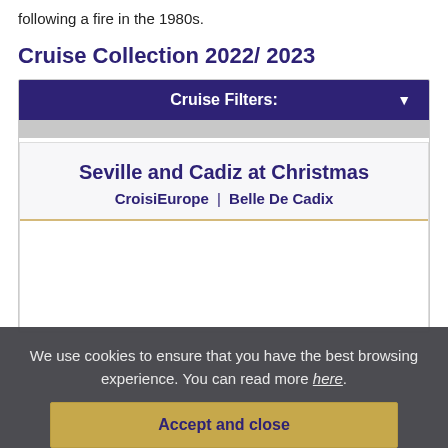following a fire in the 1980s.
Cruise Collection 2022/ 2023
Cruise Filters:
Seville and Cadiz at Christmas
CroisiEurope | Belle De Cadix
We use cookies to ensure that you have the best browsing experience. You can read more here.
Accept and close